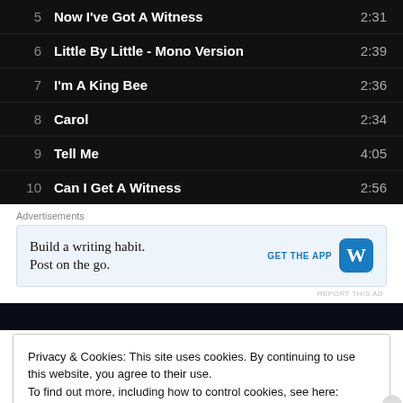5  Now I've Got A Witness  2:31
6  Little By Little - Mono Version  2:39
7  I'm A King Bee  2:36
8  Carol  2:34
9  Tell Me  4:05
10  Can I Get A Witness  2:56
Advertisements
[Figure (infographic): Advertisement banner: 'Build a writing habit. Post on the go.' with GET THE APP button and WordPress logo]
REPORT THIS AD
[Figure (photo): Dark image strip at the top of the next content section]
Privacy & Cookies: This site uses cookies. By continuing to use this website, you agree to their use.
To find out more, including how to control cookies, see here: Cookie Policy
Close and accept